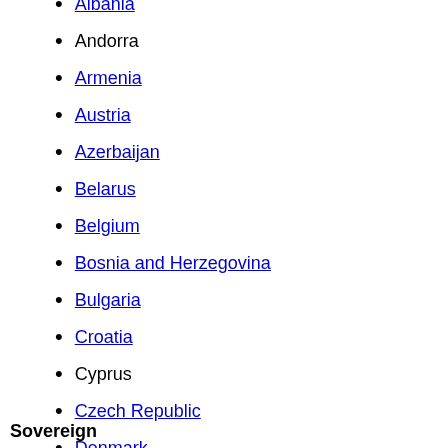Albania
Andorra
Armenia
Austria
Azerbaijan
Belarus
Belgium
Bosnia and Herzegovina
Bulgaria
Croatia
Cyprus
Czech Republic
Denmark
Estonia
Finland
France
Georgia
Germany
Greece
Hungary
Iceland
Ireland
Italy
Kazakhstan
Sovereign